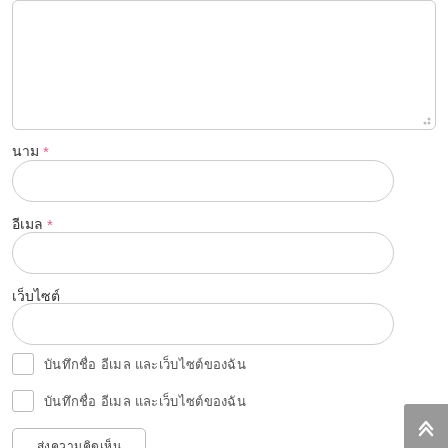[Figure (screenshot): Text area input field at the top of a web form, with rounded corners and resize handle]
นาม *
[Figure (screenshot): Single-line text input field with rounded pill shape border]
อีเมล *
[Figure (screenshot): Single-line text input field with rounded pill shape border]
เว็บไซต์
[Figure (screenshot): Single-line text input field with rounded pill shape border]
บันทึกชื่อ อีเมล และเว็บไซต์ของฉัน
บันทึกชื่อ อีเมล และเว็บไซต์ของฉัน
ส่งความคิดเห็น